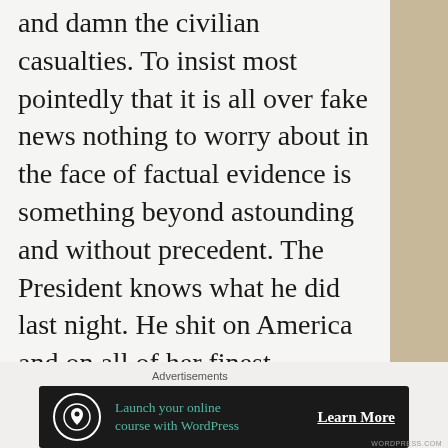and damn the civilian casualties. To insist most pointedly that it is all over fake news nothing to worry about in the face of factual evidence is something beyond astounding and without precedent. The President knows what he did last night. He shit on America and on all of her finest
Advertisements
[Figure (other): Advertisement banner: dark background with circular tree icon, teal text 'Launch your online course with WordPress', white 'Learn More' CTA button with underline]